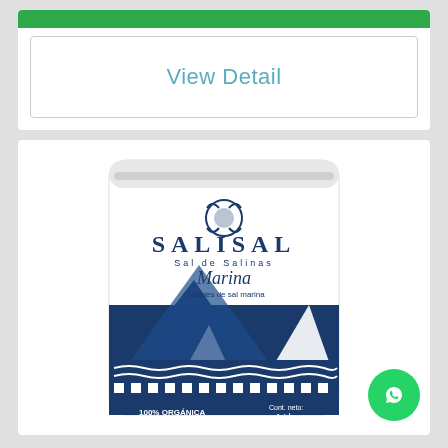[Figure (other): Green bar at top of product card]
View Detail
[Figure (photo): Salisal Marina sea salt product bag - white resealable pouch with dark blue mountain graphic design. Text on bag: SALISAL, Sal de Salinas, Marina, Cristales de sal marina, 100% ORGANICA, Cont. neto: 1 Lb.]
[Figure (logo): WhatsApp green circular button with phone/chat icon]